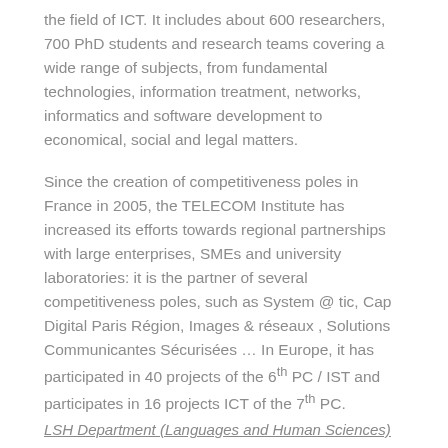the field of ICT. It includes about 600 researchers, 700 PhD students and research teams covering a wide range of subjects, from fundamental technologies, information treatment, networks, informatics and software development to economical, social and legal matters.
Since the creation of competitiveness poles in France in 2005, the TELECOM Institute has increased its efforts towards regional partnerships with large enterprises, SMEs and university laboratories: it is the partner of several competitiveness poles, such as System @ tic, Cap Digital Paris Région, Images & réseaux , Solutions Communicantes Sécurisées … In Europe, it has participated in 40 projects of the 6th PC / IST and participates in 16 projects ICT of the 7th PC.
LSH Department (Languages and Human Sciences)